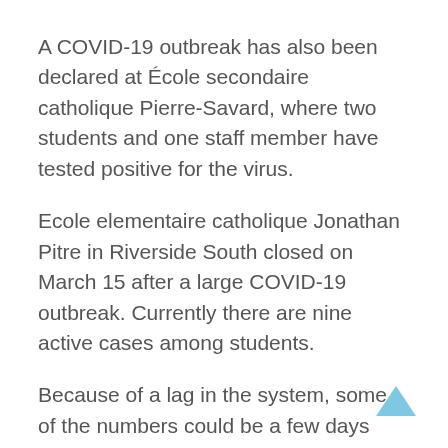A COVID-19 outbreak has also been declared at École secondaire catholique Pierre-Savard, where two students and one staff member have tested positive for the virus.
Ecole elementaire catholique Jonathan Pitre in Riverside South closed on March 15 after a large COVID-19 outbreak. Currently there are nine active cases among students.
Because of a lag in the system, some of the numbers could be a few days behind. Information on the school boards website and the education ministry's website can also be different.
Many teachers and parents have contacted the Manotick Messenger to say they are concerned about the increased transmission of COVID-19 in